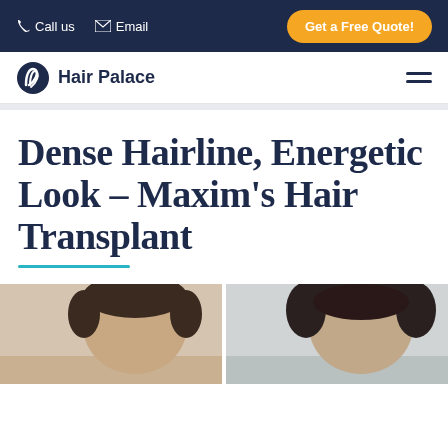Call us  Email  Get a Free Quote!
Hair Palace
Dense Hairline, Energetic Look – Maxim's Hair Transplant
[Figure (photo): Before and after hair transplant photos of Maxim showing dense hairline result]